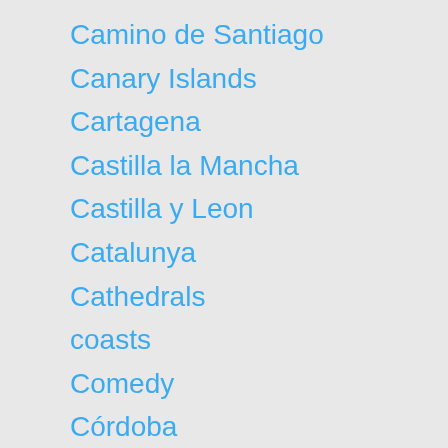Camino de Santiago
Canary Islands
Cartagena
Castilla la Mancha
Castilla y Leon
Catalunya
Cathedrals
coasts
Comedy
Córdoba
Cost of living
Costa Brava
Cuenca